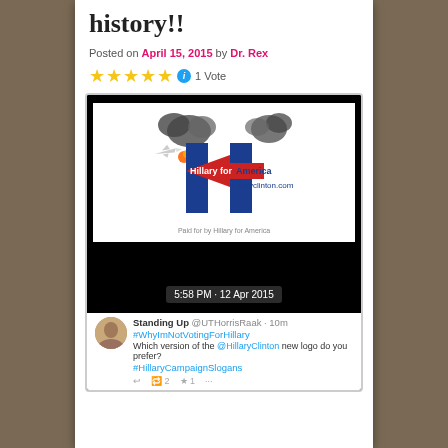history!!
Posted on April 15, 2015 by Dr. Rex
★★★★★ ℹ 1 Vote
[Figure (screenshot): Screenshot of a tweet by Standing Up @UTHorrisRaak showing a modified Hillary for America campaign logo with a plane flying into it and smoke clouds. Timestamp tooltip shows 5:58 PM - 12 Apr 2015. Tweet text: #WhyImNotVotingForHillary Which version of the @HillaryClinton new logo do you prefer? #HillaryCampaignSlogans. Actions show reply, 2 retweets, 1 like.]